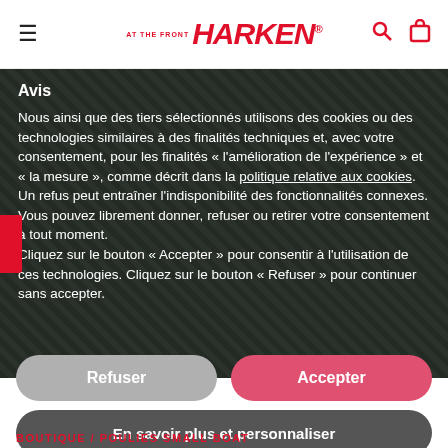HARKEN
Avis
Nous ainsi que des tiers sélectionnés utilisons des cookies ou des technologies similaires à des finalités techniques et, avec votre consentement, pour les finalités « l'amélioration de l'expérience » et « la mesure », comme décrit dans la politique relative aux cookies. Un refus peut entraîner l'indisponibilité des fonctionnalités connexes.
Vous pouvez librement donner, refuser ou retirer votre consentement à tout moment.
Cliquez sur le bouton « Accepter » pour consentir à l'utilisation de ces technologies. Cliquez sur le bouton « Refuser » pour continuer sans accepter.
Refuser
Accepter
En savoir plus et personnaliser
BOUTIQUE / POULIES SMALL BOAT